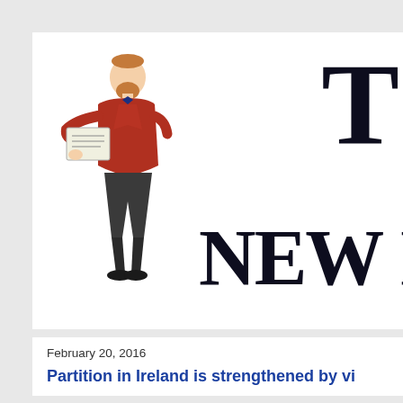[Figure (illustration): Illustration of a bearded man in a red jacket and dark trousers, holding papers, standing profile view. To the right, large bold serif text partially visible reading 'T' on top and 'NEW I' below, forming part of a publication logo.]
February 20, 2016
Partition in Ireland is strengthened by vi